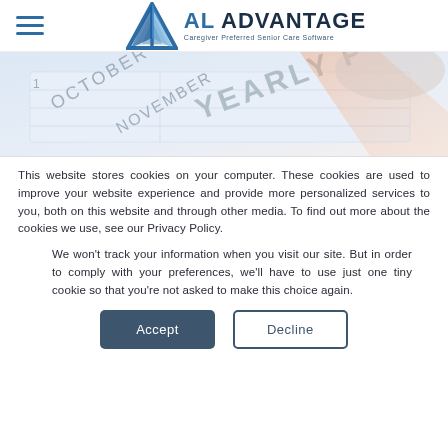AL Advantage — Caregiver Preferred Senior Care Software
[Figure (photo): Close-up photo of a yearly planner calendar showing October, November months]
This website stores cookies on your computer. These cookies are used to improve your website experience and provide more personalized services to you, both on this website and through other media. To find out more about the cookies we use, see our Privacy Policy.
We won't track your information when you visit our site. But in order to comply with your preferences, we'll have to use just one tiny cookie so that you're not asked to make this choice again.
Accept   Decline